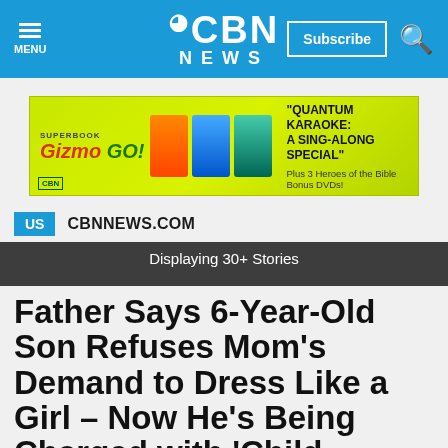CBN NEWS
[Figure (other): Advertisement for Superbook Gizmo Go! – Quantum Karaoke: A Sing-Along Special – Plus 3 Heroes of the Bible Bonus DVDs! CBN logo bottom left.]
US  CBNNEWS.COM
Displaying 30+ Stories
Father Says 6-Year-Old Son Refuses Mom's Demand to Dress Like a Girl – Now He's Being Charged with 'Child